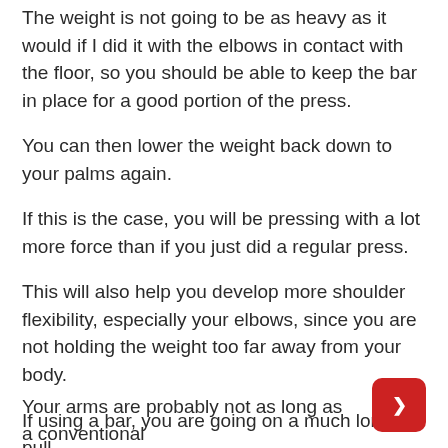The weight is not going to be as heavy as it would if I did it with the elbows in contact with the floor, so you should be able to keep the bar in place for a good portion of the press.
You can then lower the weight back down to your palms again.
If this is the case, you will be pressing with a lot more force than if you just did a regular press.
This will also help you develop more shoulder flexibility, especially your elbows, since you are not holding the weight too far away from your body.
If using a bar, you are going on a much longer pull.
Your arms are probably not as long as a conventional